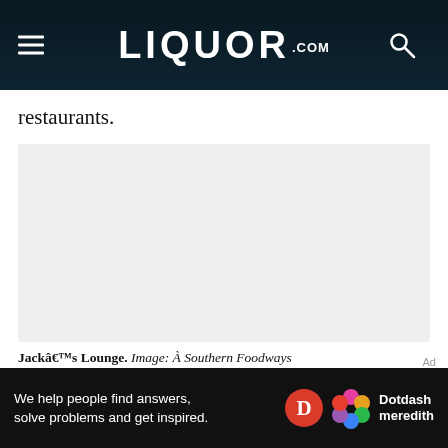LIQUOR.COM
restaurants.
[Figure (photo): Large image placeholder, light gray background]
Jackâ€™s Lounge. Image: À Southern Foodways
[Figure (screenshot): Dotdash Meredith advertisement banner: 'We help people find answers, solve problems and get inspired.' with Dotdash Meredith logo]